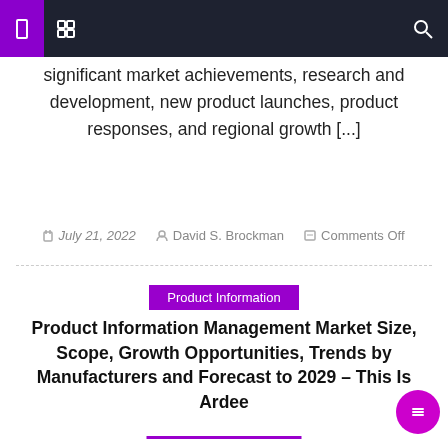Navigation header bar with icons
significant market achievements, research and development, new product launches, product responses, and regional growth [...]
July 21, 2022  David S. Brockman  Comments Off
Product Information
Product Information Management Market Size, Scope, Growth Opportunities, Trends by Manufacturers and Forecast to 2029 – This Is Ardee
New Jersey, United States – The Product Information Management Market research guides new entrants to obtain accurate market data and communicates with customers